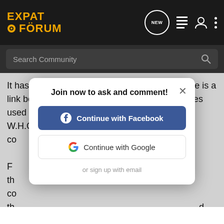EXPAT FORUM
Search Community
It has never been categorically proven that there is a link between DDT and cancer, the sample figures used in the trials were, by the admission of the W.H.O., too small to be conclusive.
Furthermore... the worlds largest manufacturer of DDT... company, (M******o) producing DDT, switched from producing pesticides to manufacturing herbicides instead; having established itself as the worlds largest manufacturer of
[Figure (screenshot): Modal dialog: 'Join now to ask and comment!' with Continue with Facebook button, Continue with Google button, and 'or sign up with email' link. Close (X) button in top right.]